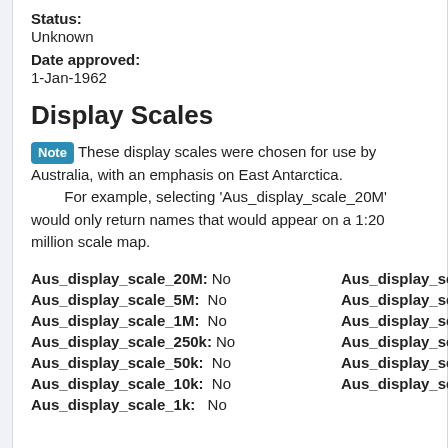Status:
Unknown
Date approved:
1-Jan-1962
Display Scales
Note These display scales were chosen for use by Australia, with an emphasis on East Antarctica. For example, selecting 'Aus_display_scale_20M' would only return names that would appear on a 1:20 million scale map.
Aus_display_scale_20M: No
Aus_display_scale_10M: N
Aus_display_scale_5M: No
Aus_display_scale_2M: N
Aus_display_scale_1M: No
Aus_display_scale_500k: N
Aus_display_scale_250k: No
Aus_display_scale_100k: N
Aus_display_scale_50k: No
Aus_display_scale_25k: N
Aus_display_scale_10k: No
Aus_display_scale_5k: N
Aus_display_scale_1k: No